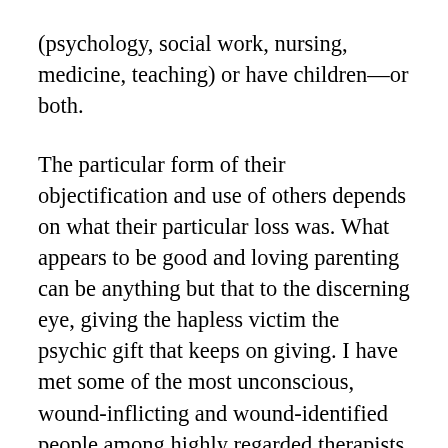(psychology, social work, nursing, medicine, teaching) or have children—or both.
The particular form of their objectification and use of others depends on what their particular loss was. What appears to be good and loving parenting can be anything but that to the discerning eye, giving the hapless victim the psychic gift that keeps on giving. I have met some of the most unconscious, wound-inflicting and wound-identified people among highly regarded therapists, adoptive and foster parents, birth mother activists, and home schooling mothers than I have met among clients who